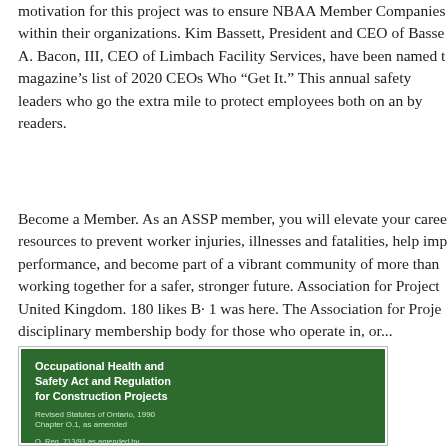motivation for this project was to ensure NBAA Member Companies within their organizations. Kim Bassett, President and CEO of Basse A. Bacon, III, CEO of Limbach Facility Services, have been named t magazine’s list of 2020 CEOs Who “Get It.” This annual safety leaders who go the extra mile to protect employees both on an by readers.
Become a Member. As an ASSP member, you will elevate your caree resources to prevent worker injuries, illnesses and fatalities, help imp performance, and become part of a vibrant community of more than working together for a safer, stronger future. Association for Project United Kingdom. 180 likes B· 1 was here. The Association for Proje disciplinary membership body for those who operate in, or...
[Figure (photo): Book cover: 'Occupational Health and Safety Act and Regulation for Construction Projects' - Revised Statutes of Ontario, 1990 Chapter O.1, as amended. O. Reg. 713/91 as amended by O. Reg. 831/94, O. Reg. 143/99, O. Reg. 571/99, O. Reg. 145/00. Green cover with white and light green text.]